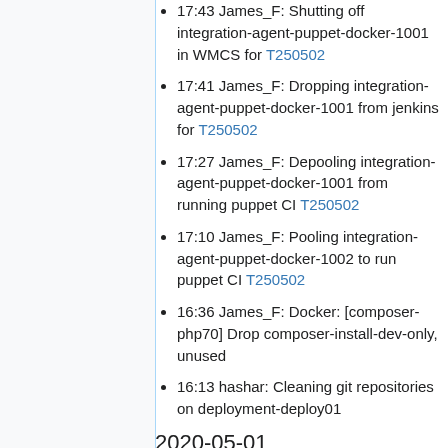17:43 James_F: Shutting off integration-agent-puppet-docker-1001 in WMCS for T250502
17:41 James_F: Dropping integration-agent-puppet-docker-1001 from jenkins for T250502
17:27 James_F: Depooling integration-agent-puppet-docker-1001 from running puppet CI T250502
17:10 James_F: Pooling integration-agent-puppet-docker-1002 to run puppet CI T250502
16:36 James_F: Docker: [composer-php70] Drop composer-install-dev-only, unused
16:13 hashar: Cleaning git repositories on deployment-deploy01
2020-05-01